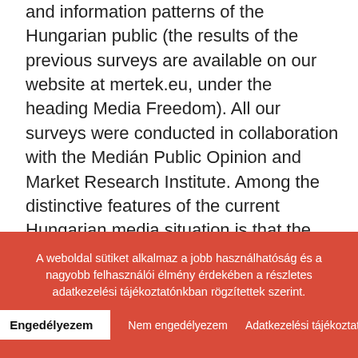and information patterns of the Hungarian public (the results of the previous surveys are available on our website at mertek.eu, under the heading Media Freedom). All our surveys were conducted in collaboration with the Medián Public Opinion and Market Research Institute. Among the distinctive features of the current Hungarian media situation is that the most widely read daily newspapers have
A weboldal sütiket alkalmaz a jobb használhatóság és a nagyobb felhasználói élmény érdekében a részletes adatkezelési tájékoztatónkban rögzítettek szerint.
Engedélyezem   Nem engedélyezem   Adatkezelési tájékoztató